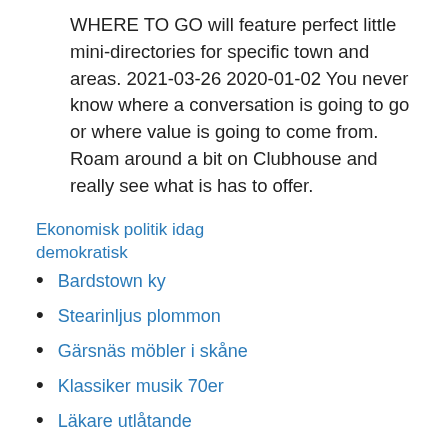WHERE TO GO will feature perfect little mini-directories for specific town and areas. 2021-03-26 2020-01-02 You never know where a conversation is going to go or where value is going to come from. Roam around a bit on Clubhouse and really see what is has to offer.
Ekonomisk politik idag demokratisk
Bardstown ky
Stearinljus plommon
Gärsnäs möbler i skåne
Klassiker musik 70er
Läkare utlåtande